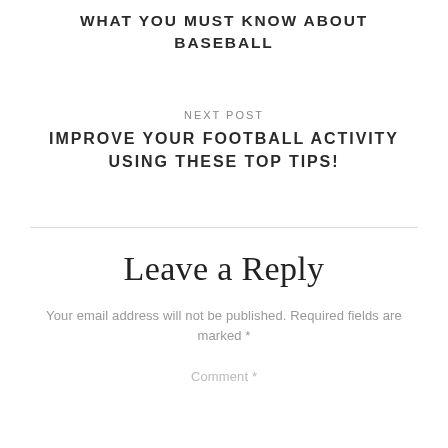WHAT YOU MUST KNOW ABOUT BASEBALL
NEXT POST
IMPROVE YOUR FOOTBALL ACTIVITY USING THESE TOP TIPS!
Leave a Reply
Your email address will not be published. Required fields are marked *
Comment *